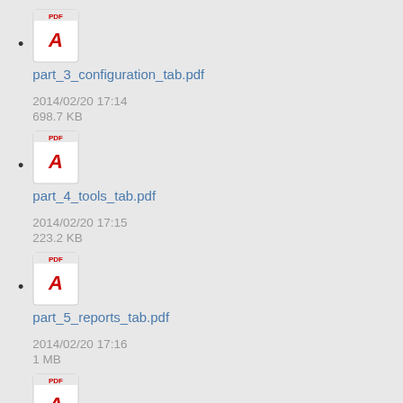part_3_configuration_tab.pdf
2014/02/20 17:14
698.7 KB
part_4_tools_tab.pdf
2014/02/20 17:15
223.2 KB
part_5_reports_tab.pdf
2014/02/20 17:16
1 MB
part_6_account_tab.pdf